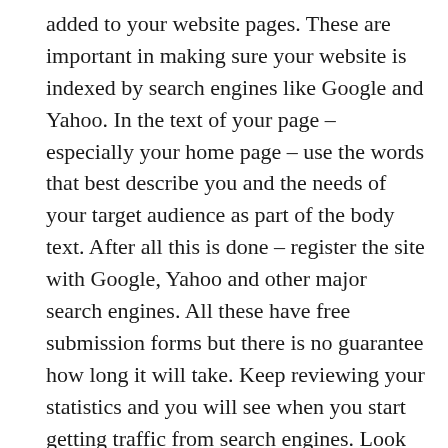added to your website pages. These are important in making sure your website is indexed by search engines like Google and Yahoo. In the text of your page – especially your home page – use the words that best describe you and the needs of your target audience as part of the body text. After all this is done – register the site with Google, Yahoo and other major search engines. All these have free submission forms but there is no guarantee how long it will take. Keep reviewing your statistics and you will see when you start getting traffic from search engines. Look at the keywords people are using to find your site and refine these keywords on your pages.